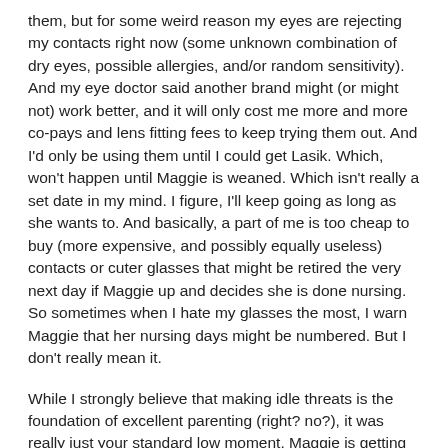them, but for some weird reason my eyes are rejecting my contacts right now (some unknown combination of dry eyes, possible allergies, and/or random sensitivity). And my eye doctor said another brand might (or might not) work better, and it will only cost me more and more co-pays and lens fitting fees to keep trying them out. And I'd only be using them until I could get Lasik. Which, won't happen until Maggie is weaned. Which isn't really a set date in my mind. I figure, I'll keep going as long as she wants to. And basically, a part of me is too cheap to buy (more expensive, and possibly equally useless) contacts or cuter glasses that might be retired the very next day if Maggie up and decides she is done nursing. So sometimes when I hate my glasses the most, I warn Maggie that her nursing days might be numbered. But I don't really mean it.
While I strongly believe that making idle threats is the foundation of excellent parenting (right? no?), it was really just your standard low moment. Maggie is getting to that age of knowing what she wants but not having the words to tell us. So she communicates mostly though pointing that is punctuated with these terrible grunt/whine/screams. It is hard